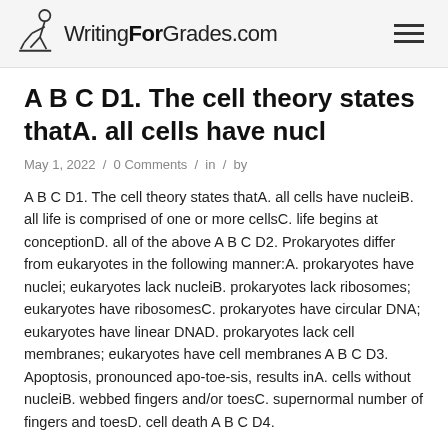WritingForGrades.com
A B C D1. The cell theory states thatA. all cells have nucl
May 1, 2022 / 0 Comments / in / by
A B C D1. The cell theory states thatA. all cells have nucleiB. all life is comprised of one or more cellsC. life begins at conceptionD. all of the above A B C D2. Prokaryotes differ from eukaryotes in the following manner:A. prokaryotes have nuclei; eukaryotes lack nucleiB. prokaryotes lack ribosomes; eukaryotes have ribosomesC. prokaryotes have circular DNA; eukaryotes have linear DNAD. prokaryotes lack cell membranes; eukaryotes have cell membranes A B C D3. Apoptosis, pronounced apo-toe-sis, results inA. cells without nucleiB. webbed fingers and/or toesC. supernormal number of fingers and toesD. cell death A B C D4.